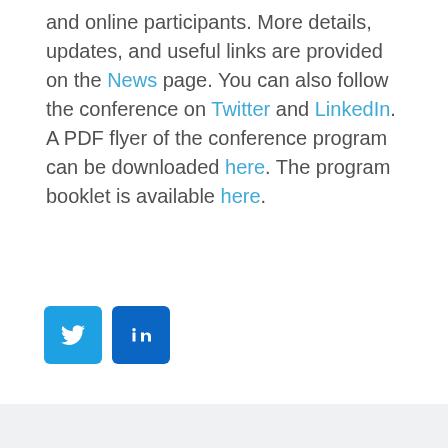and online participants. More details, updates, and useful links are provided on the News page. You can also follow the conference on Twitter and LinkedIn.  A PDF flyer of the conference program can be downloaded here. The program booklet is available here.
[Figure (other): Twitter and LinkedIn social media icon buttons]